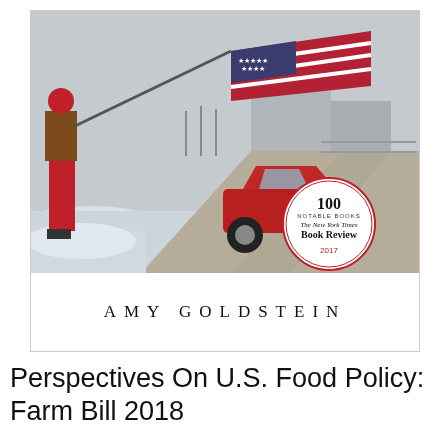[Figure (photo): Book cover image showing a person in red pants and brown jacket waving an American flag on a snowy road with a red SUV, along with a NYT 100 Notable Books 2017 badge and the author name AMY GOLDSTEIN]
Perspectives On U.S. Food Policy: Farm Bill 2018